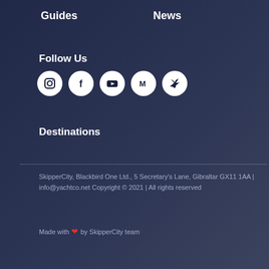Guides
News
Follow Us
[Figure (illustration): Five social media icons in white circles: Instagram, Facebook, YouTube, Medium, Twitter]
Destinations
SkipperCity, Blackbird One Ltd., 5 Secretary's Lane, Gibraltar GX11 1AA | info@yachtco.net Copyright © 2021 | All rights reserved
Made with ❤ by SkipperCity team